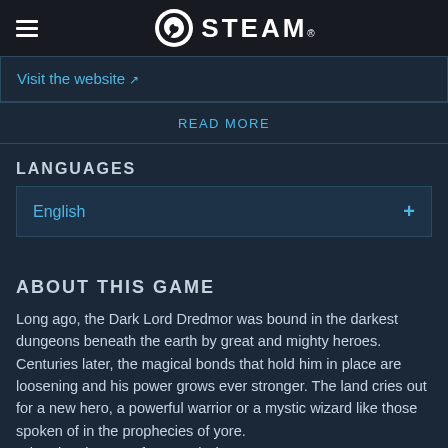STEAM
Visit the website ↗
READ MORE
LANGUAGES
English +
ABOUT THIS GAME
Long ago, the Dark Lord Dredmor was bound in the darkest dungeons beneath the earth by great and mighty heroes. Centuries later, the magical bonds that hold him in place are loosening and his power grows ever stronger. The land cries out for a new hero, a powerful warrior or a mystic wizard like those spoken of in the prophecies of yore.
What they have, unfortunately, is you...